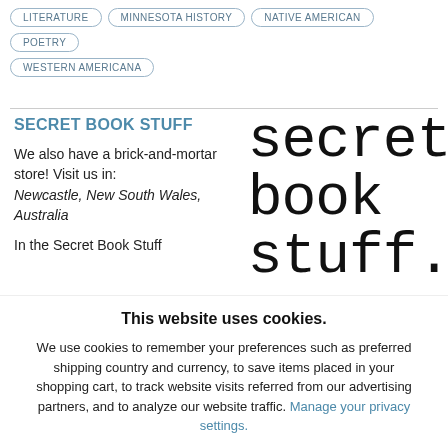LITERATURE
MINNESOTA HISTORY
NATIVE AMERICAN
POETRY
WESTERN AMERICANA
SECRET BOOK STUFF
We also have a brick-and-mortar store! Visit us in: Newcastle, New South Wales, Australia
In the Secret Book Stuff
[Figure (logo): Secret book stuff. logo in large serif/monospace text]
This website uses cookies.
We use cookies to remember your preferences such as preferred shipping country and currency, to save items placed in your shopping cart, to track website visits referred from our advertising partners, and to analyze our website traffic. Manage your privacy settings.
AGREE AND CLOSE